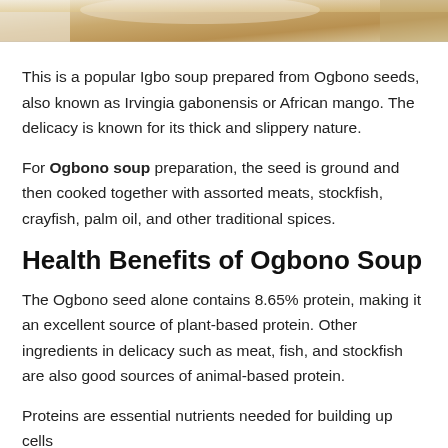[Figure (photo): Partial top view of a plate of Ogbono soup, cropped at top of page]
This is a popular Igbo soup prepared from Ogbono seeds, also known as Irvingia gabonensis or African mango. The delicacy is known for its thick and slippery nature.
For Ogbono soup preparation, the seed is ground and then cooked together with assorted meats, stockfish, crayfish, palm oil, and other traditional spices.
Health Benefits of Ogbono Soup
The Ogbono seed alone contains 8.65% protein, making it an excellent source of plant-based protein. Other ingredients in delicacy such as meat, fish, and stockfish are also good sources of animal-based protein.
Proteins are essential nutrients needed for building up cells